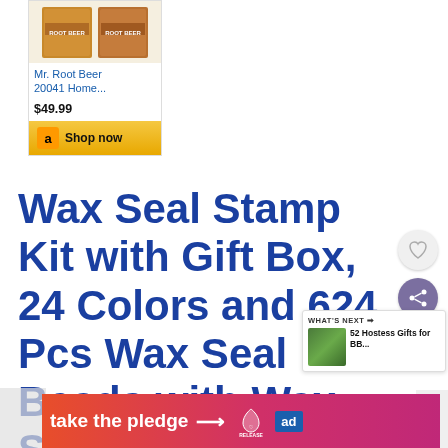[Figure (screenshot): Amazon product card showing Mr. Root Beer 20041 Home... priced at $49.99 with a Shop now button]
Mr. Root Beer 20041 Home...
$49.99
Wax Seal Stamp Kit with Gift Box, 24 Colors and 624 Pcs Wax Seal Beads with Wax Seal Stamp
[Figure (screenshot): WHAT'S NEXT panel showing 52 Hostess Gifts for BB...]
[Figure (screenshot): take the pledge banner with RELEASE and ad badge]